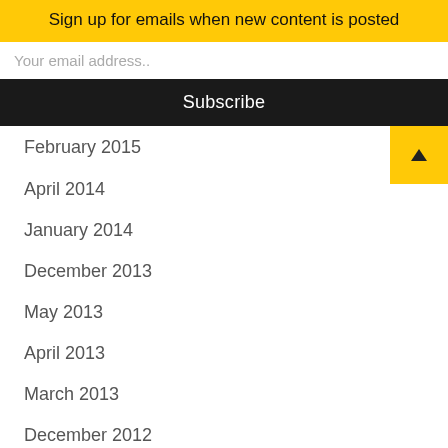Sign up for emails when new content is posted
Your email address..
Subscribe
February 2015
April 2014
January 2014
December 2013
May 2013
April 2013
March 2013
December 2012
CATEGORIES
Alphonse Mouzon
Book
Books